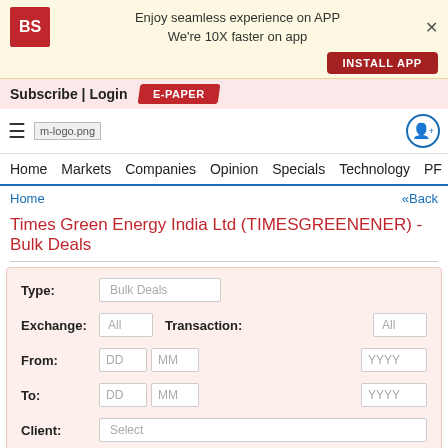Enjoy seamless experience on APP
We're 10X faster on app
INSTALL APP
Subscribe | Login  E-PAPER
m-logo.png
Home  Markets  Companies  Opinion  Specials  Technology  PF  P
Home  «Back
Times Green Energy India Ltd (TIMESGREENENER) - Bulk Deals
| Type | Exchange | Transaction | From | To | Client |
| --- | --- | --- | --- | --- | --- |
| Bulk Deals | All | All | DD MM YYYY | DD MM YYYY | Select |